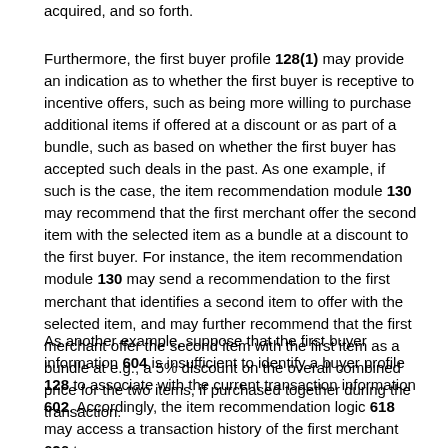acquired, and so forth.
Furthermore, the first buyer profile 128(1) may provide an indication as to whether the first buyer is receptive to incentive offers, such as being more willing to purchase additional items if offered at a discount or as part of a bundle, such as based on whether the first buyer has accepted such deals in the past. As one example, if such is the case, the item recommendation module 130 may recommend that the first merchant offer the second item with the selected item as a bundle at a discount to the first buyer. For instance, the item recommendation module 130 may send a recommendation to the first merchant that identifies a second item to offer with the selected item, and may further recommend that the first merchant offer the second item with the first item as a bundle at e.g., a 5% discount on the overall combined price for the two items, if purchased together during the transaction.
As another example, suppose that the first buyer information 604 is insufficient to identify a buyer profile 128 to associate with the current transaction information 602. Accordingly, the item recommendation logic 618 may access a transaction history of the first merchant 626 to